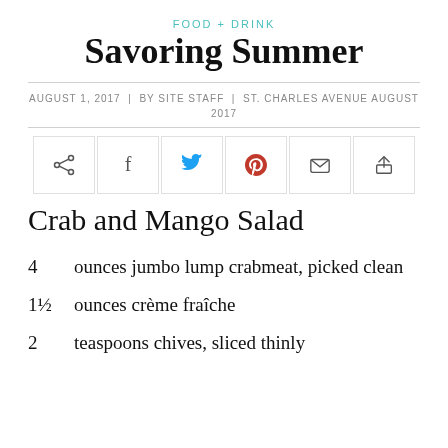FOOD + DRINK
Savoring Summer
AUGUST 1, 2017  |  BY SITE STAFF  |  ST. CHARLES AVENUE AUGUST 2017
[Figure (other): Social sharing buttons: share, Facebook, Twitter, Pinterest, email, print]
Crab and Mango Salad
4   ounces jumbo lump crabmeat, picked clean
1½  ounces crème fraîche
2   teaspoons chives, sliced thinly